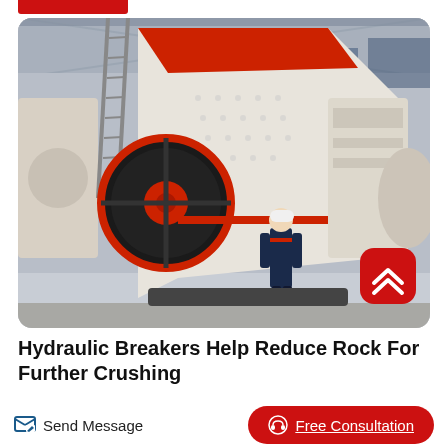[Figure (photo): Large industrial jaw crusher machine in factory/warehouse setting. The machine is predominantly white and cream colored with red and orange accents. A worker in a white hard hat and dark blue uniform stands next to the massive machine for scale. The machine has a large black flywheel with red center on the left side. Industrial facility with steel structure visible in background. A red scroll-to-top button with chevron icon overlays the bottom-right corner of the image.]
Hydraulic Breakers Help Reduce Rock For Further Crushing
Send Message
Free Consultation